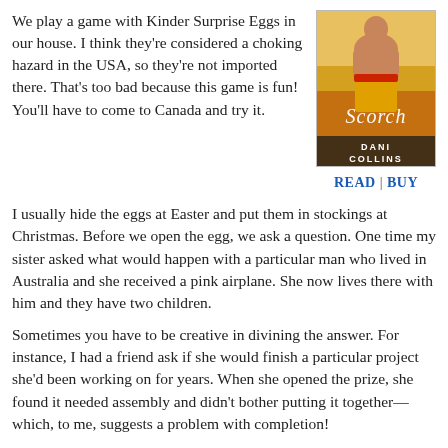We play a game with Kinder Surprise Eggs in our house. I think they're considered a choking hazard in the USA, so they're not imported there. That's too bad because this game is fun! You'll have to come to Canada and try it.
[Figure (illustration): Book cover for 'Scorch' by Dani Collins, showing a shirtless man in yellow pants, with script title and author name at bottom.]
READ | BUY
I usually hide the eggs at Easter and put them in stockings at Christmas. Before we open the egg, we ask a question. One time my sister asked what would happen with a particular man who lived in Australia and she received a pink airplane. She now lives there with him and they have two children.
Sometimes you have to be creative in divining the answer. For instance, I had a friend ask if she would finish a particular project she'd been working on for years. When she opened the prize, she found it needed assembly and didn't bother putting it together—which, to me, suggests a problem with completion!
I usually ask what will come up with my writing career, which